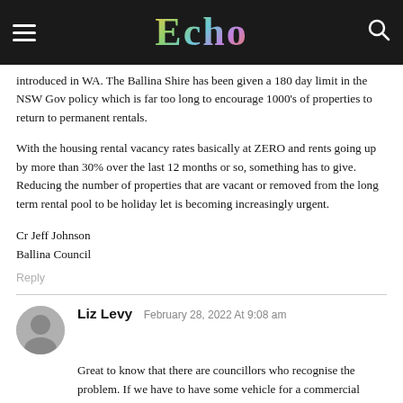Echo
introduced in WA. The Ballina Shire has been given a 180 day limit in the NSW Gov policy which is far too long to encourage 1000's of properties to return to permanent rentals.
With the housing rental vacancy rates basically at ZERO and rents going up by more than 30% over the last 12 months or so, something has to give. Reducing the number of properties that are vacant or removed from the long term rental pool to be holiday let is becoming increasingly urgent.
Cr Jeff Johnson
Ballina Council
Reply
Liz Levy  February 28, 2022 At 9:08 am
Great to know that there are councillors who recognise the problem. If we have to have some vehicle for a commercial usage in residential zones (and I'm not convinced we do) I like the idea of determining a reasonable percentage of residences that a community can sustain. This calculation would